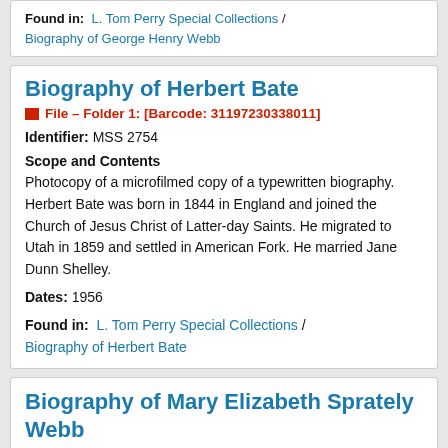Found in: L. Tom Perry Special Collections / Biography of George Henry Webb
Biography of Herbert Bate
File – Folder 1: [Barcode: 31197230338011]
Identifier: MSS 2754
Scope and Contents
Photocopy of a microfilmed copy of a typewritten biography. Herbert Bate was born in 1844 in England and joined the Church of Jesus Christ of Latter-day Saints. He migrated to Utah in 1859 and settled in American Fork. He married Jane Dunn Shelley.
Dates: 1956
Found in: L. Tom Perry Special Collections / Biography of Herbert Bate
Biography of Mary Elizabeth Sprately Webb
Collection – Folder 1: [Barcode: